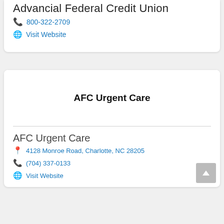Advancial Federal Credit Union
📞 800-322-2709
🌐 Visit Website
[Figure (other): AFC Urgent Care logo placeholder image area]
AFC Urgent Care
📍 4128 Monroe Road, Charlotte, NC 28205
📞 (704) 337-0133
🌐 Visit Website